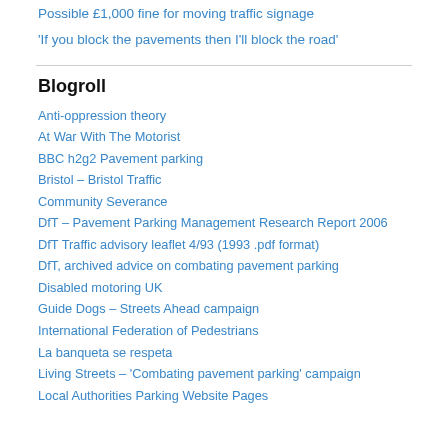Possible £1,000 fine for moving traffic signage
'If you block the pavements then I'll block the road'
Blogroll
Anti-oppression theory
At War With The Motorist
BBC h2g2 Pavement parking
Bristol – Bristol Traffic
Community Severance
DfT – Pavement Parking Management Research Report 2006
DfT Traffic advisory leaflet 4/93 (1993 .pdf format)
DfT, archived advice on combating pavement parking
Disabled motoring UK
Guide Dogs – Streets Ahead campaign
International Federation of Pedestrians
La banqueta se respeta
Living Streets – 'Combating pavement parking' campaign
Local Authorities Parking Website Pages